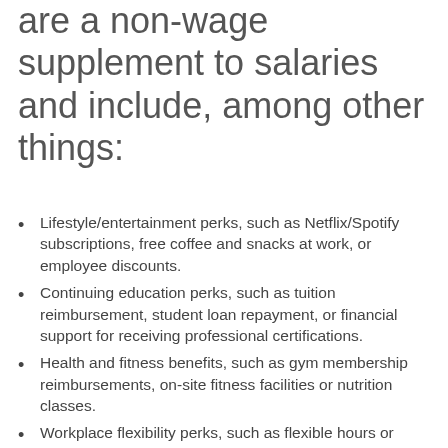are a non-wage supplement to salaries and include, among other things:
Lifestyle/entertainment perks, such as Netflix/Spotify subscriptions, free coffee and snacks at work, or employee discounts.
Continuing education perks, such as tuition reimbursement, student loan repayment, or financial support for receiving professional certifications.
Health and fitness benefits, such as gym membership reimbursements, on-site fitness facilities or nutrition classes.
Workplace flexibility perks, such as flexible hours or remote benefits.